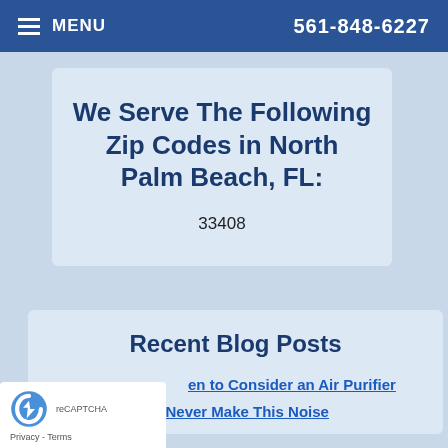MENU  561-848-6227
We Serve The Following Zip Codes in North Palm Beach, FL:
33408
Recent Blog Posts
When to Consider an Air Purifier
Your AC Should Never Make This Noise